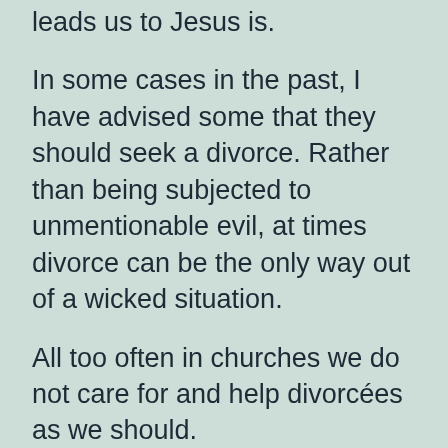leads us to Jesus is.
In some cases in the past, I have advised some that they should seek a divorce. Rather than being subjected to unmentionable evil, at times divorce can be the only way out of a wicked situation.
All too often in churches we do not care for and help divorcées as we should.
We view divorce too